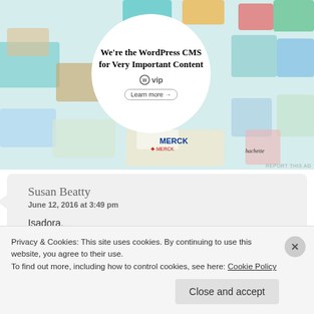[Figure (screenshot): WordPress VIP advertisement banner with colorful brand tiles in background and a white circle overlay containing the text 'We're the WordPress CMS for Very Important Content' with WordPress VIP logo and a 'Learn more' button.]
Susan Beatty
June 12, 2016 at 3:49 pm

Isadora,
Privacy & Cookies: This site uses cookies. By continuing to use this website, you agree to their use.
To find out more, including how to control cookies, see here: Cookie Policy
Close and accept